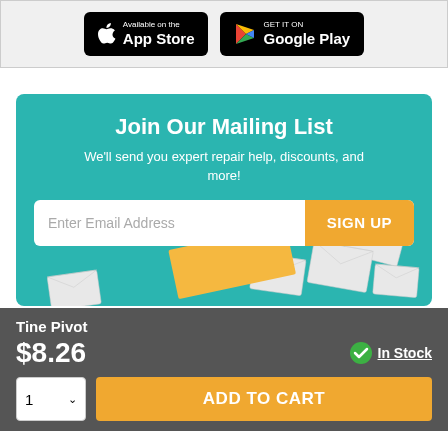[Figure (screenshot): App Store and Google Play download badges on light grey background]
[Figure (infographic): Join Our Mailing List promotional banner with teal background, email signup field with SIGN UP button, and decorative envelope illustrations]
Tine Pivot
$8.26
In Stock
ADD TO CART